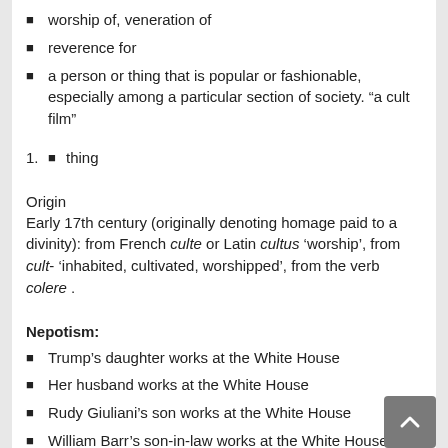worship of, veneration of
reverence for
a person or thing that is popular or fashionable, especially among a particular section of society. “a cult film”
1. thing
Origin
Early 17th century (originally denoting homage paid to a divinity): from French culte or Latin cultus ‘worship’, from cult- ‘inhabited, cultivated, worshipped’, from the verb colere .
Nepotism:
Trump’s daughter works at the White House
Her husband works at the White House
Rudy Giuliani’s son works at the White House
William Barr’s son-in-law works at the White House
William Barr’s daughter works at the Treasury